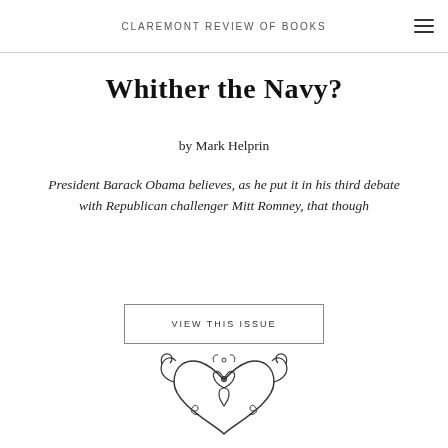CLAREMONT REVIEW OF BOOKS
Whither the Navy?
by Mark Helprin
President Barack Obama believes, as he put it in his third debate with Republican challenger Mitt Romney, that though
VIEW THIS ISSUE
[Figure (illustration): Decorative ornamental floral/scroll emblem illustration at the bottom of the page]